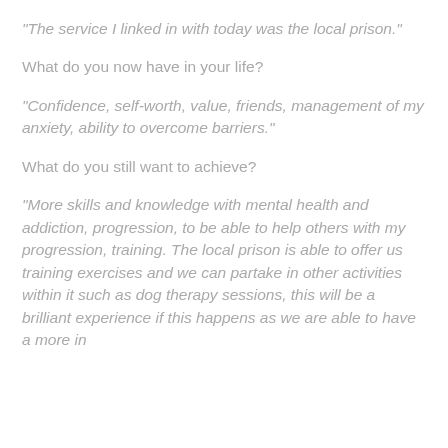“The service I linked in with today was the local prison.”
What do you now have in your life?
“Confidence, self-worth, value, friends, management of my anxiety, ability to overcome barriers.”
What do you still want to achieve?
“More skills and knowledge with mental health and addiction, progression, to be able to help others with my progression, training. The local prison is able to offer us training exercises and we can partake in other activities within it such as dog therapy sessions, this will be a brilliant experience if this happens as we are able to have a more in